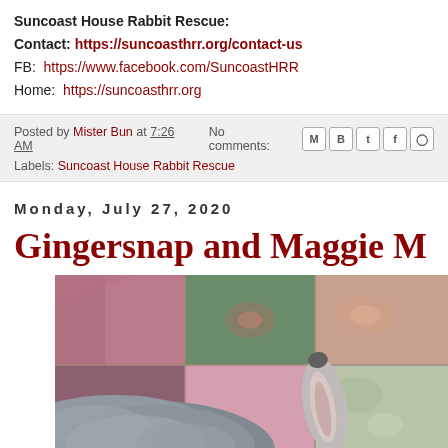Suncoast House Rabbit Rescue:
Contact: https://suncoasthrr.org/contact-us
FB: https://www.facebook.com/SuncoastHRR
Home: https://suncoasthrr.org
Posted by Mister Bun at 7:26 AM   No comments:
Labels: Suncoast House Rabbit Rescue
Monday, July 27, 2020
Gingersnap and Maggie M
[Figure (photo): Photo of a rabbit lying on a colorful patchwork quilt with pink, green, and floral fabric patches. The rabbit has gray fur and visible ears.]